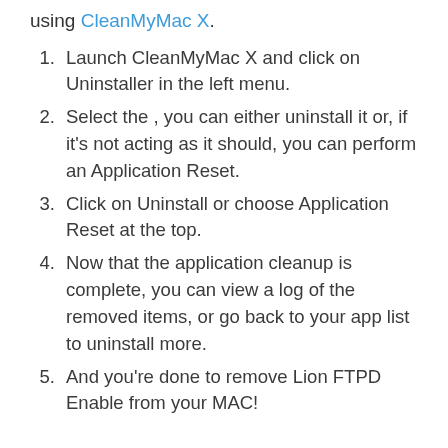using CleanMyMac X.
Launch CleanMyMac X and click on Uninstaller in the left menu.
Select the , you can either uninstall it or, if it’s not acting as it should, you can perform an Application Reset.
Click on Uninstall or choose Application Reset at the top.
Now that the application cleanup is complete, you can view a log of the removed items, or go back to your app list to uninstall more.
And you’re done to remove Lion FTPD Enable from your MAC!